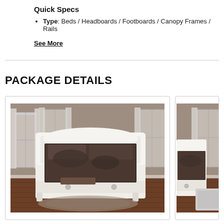Quick Specs
Type: Beds / Headboards / Footboards / Canopy Frames / Rails
See More
PACKAGE DETAILS
[Figure (photo): White sleigh bed with dark patterned bedding in a bedroom setting with wood floors and windows.]
[Figure (photo): Partial view of a similar white bed in a bedroom setting, partially cropped.]